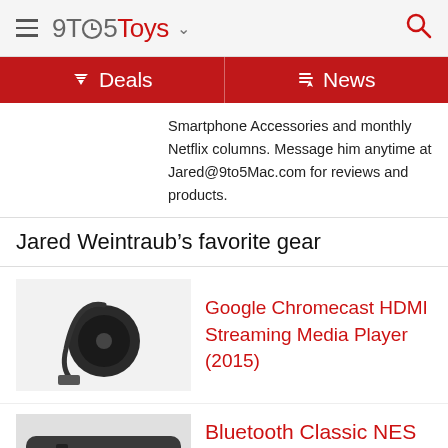9TO5Toys
Deals | News
Smartphone Accessories and monthly Netflix columns. Message him anytime at Jared@9to5Mac.com for reviews and products.
Jared Weintraub's favorite gear
[Figure (photo): Google Chromecast HDMI device on white background]
Google Chromecast HDMI Streaming Media Player (2015)
[Figure (photo): Bluetooth Classic NES Controller]
Bluetooth Classic NES Controller